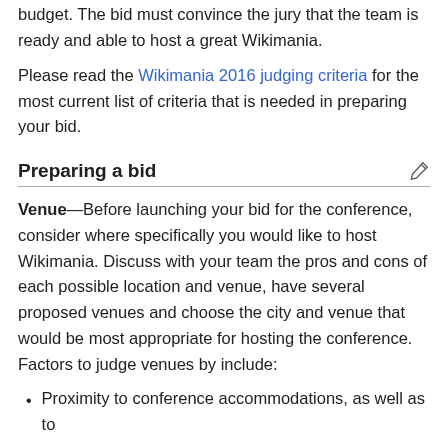budget. The bid must convince the jury that the team is ready and able to host a great Wikimania.
Please read the Wikimania 2016 judging criteria for the most current list of criteria that is needed in preparing your bid.
Preparing a bid
Venue—Before launching your bid for the conference, consider where specifically you would like to host Wikimania. Discuss with your team the pros and cons of each possible location and venue, have several proposed venues and choose the city and venue that would be most appropriate for hosting the conference. Factors to judge venues by include:
Proximity to conference accommodations, as well as to